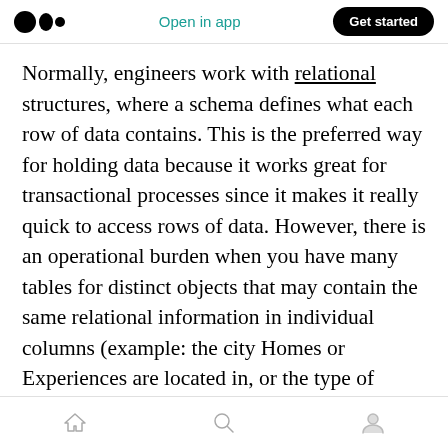Open in app  Get started
Normally, engineers work with relational structures, where a schema defines what each row of data contains. This is the preferred way for holding data because it works great for transactional processes since it makes it really quick to access rows of data. However, there is an operational burden when you have many tables for distinct objects that may contain the same relational information in individual columns (example: the city Homes or Experiences are located in, or the type of activity that an experience and that a destination is known for).
home  search  profile